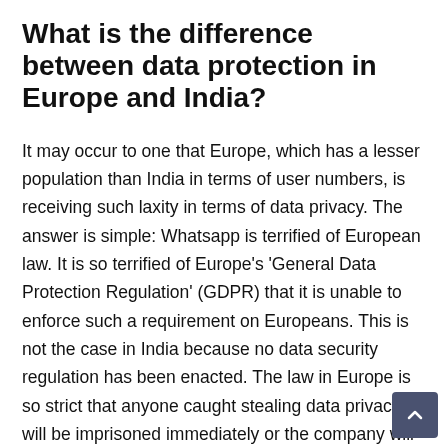What is the difference between data protection in Europe and India?
It may occur to one that Europe, which has a lesser population than India in terms of user numbers, is receiving such laxity in terms of data privacy. The answer is simple: Whatsapp is terrified of European law. It is so terrified of Europe's 'General Data Protection Regulation' (GDPR) that it is unable to enforce such a requirement on Europeans. This is not the case in India because no data security regulation has been enacted. The law in Europe is so strict that anyone caught stealing data privacy will be imprisoned immediately or the company will be